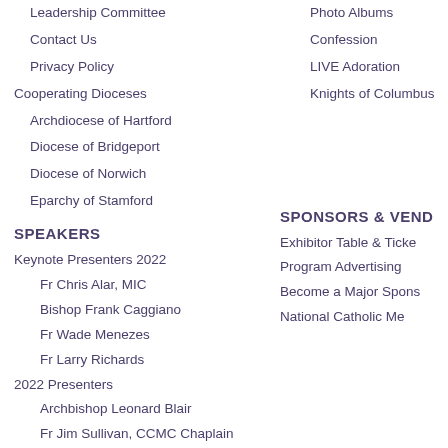Leadership Committee
Contact Us
Privacy Policy
Cooperating Dioceses
Archdiocese of Hartford
Diocese of Bridgeport
Diocese of Norwich
Eparchy of Stamford
Photo Albums
Confession
LIVE Adoration
Knights of Columbus
SPEAKERS
Keynote Presenters 2022
Fr Chris Alar, MIC
Bishop Frank Caggiano
Fr Wade Menezes
Fr Larry Richards
2022 Presenters
Archbishop Leonard Blair
Fr Jim Sullivan, CCMC Chaplain
SPONSORS & VEND…
Exhibitor Table & Ticke…
Program Advertising
Become a Major Spons…
National Catholic Me…